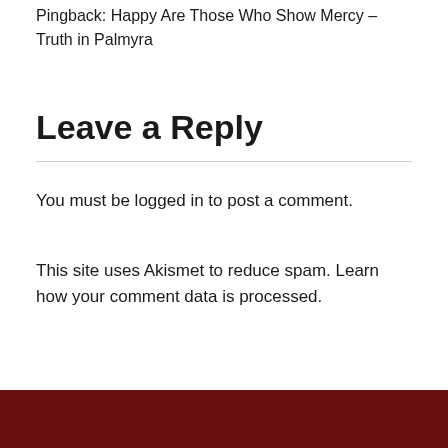Pingback: Happy Are Those Who Show Mercy – Truth in Palmyra
Leave a Reply
You must be logged in to post a comment.
This site uses Akismet to reduce spam. Learn how your comment data is processed.